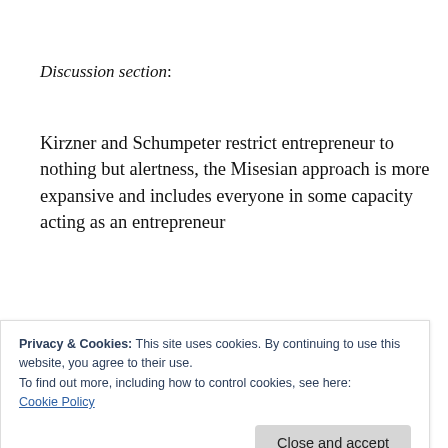Discussion section:
Kirzner and Schumpeter restrict entrepreneur to nothing but alertness, the Misesian approach is more expansive and includes everyone in some capacity acting as an entrepreneur
Mises in Human Action talks about the
Privacy & Cookies: This site uses cookies. By continuing to use this website, you agree to their use.
To find out more, including how to control cookies, see here:
Cookie Policy
entrepreneur, occasionally he refers to the